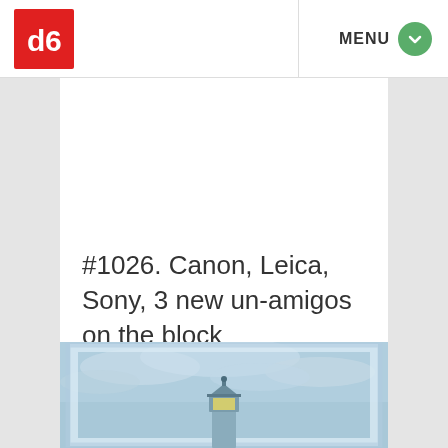[Figure (logo): Red square logo with white 'd6' or similar symbol inside]
MENU
#1026. Canon, Leica, Sony, 3 new un-amigos on the block
[Figure (photo): Lighthouse against a blue cloudy sky, partially visible at bottom of page]